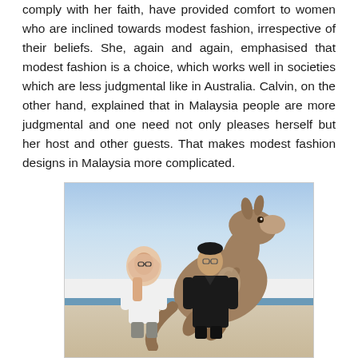comply with her faith, have provided comfort to women who are inclined towards modest fashion, irrespective of their beliefs. She, again and again, emphasised that modest fashion is a choice, which works well in societies which are less judgmental like in Australia. Calvin, on the other hand, explained that in Malaysia people are more judgmental and one need not only pleases herself but her host and other guests. That makes modest fashion designs in Malaysia more complicated.
[Figure (photo): A photo of two people (a woman wearing a hijab and white jacket, and a man in black clothing) standing in front of a large image or statue of a kangaroo, with a beach/ocean background scene.]